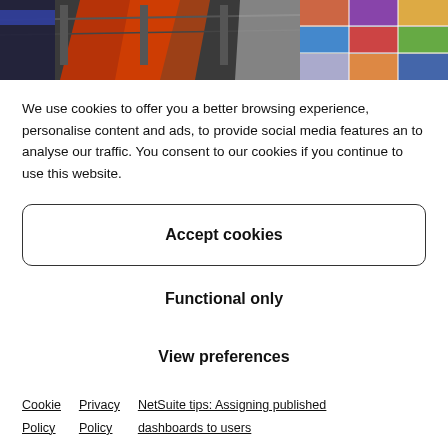[Figure (photo): A cropped circular photo showing a colorful exhibition or event space with banners and a photo grid on the right side, only the bottom portion visible.]
We use cookies to offer you a better browsing experience, personalise content and ads, to provide social media features an to analyse our traffic. You consent to our cookies if you continue to use this website.
Accept cookies
Functional only
View preferences
Cookie Policy
Privacy Policy
NetSuite tips: Assigning published dashboards to users